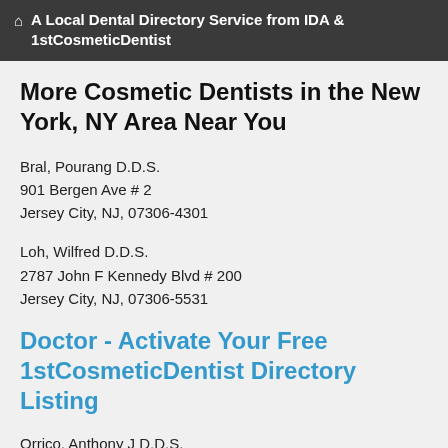A Local Dental Directory Service from IDA & 1stCosmeticDentist
More Cosmetic Dentists in the New York, NY Area Near You
Bral, Pourang D.D.S.
901 Bergen Ave # 2
Jersey City, NJ, 07306-4301
Loh, Wilfred D.D.S.
2787 John F Kennedy Blvd # 200
Jersey City, NJ, 07306-5531
Doctor - Activate Your Free 1stCosmeticDentist Directory Listing
Orrico, Anthony J D.D.S.
532 Summit Ave
Jersey City, NJ, 07306-2938
Ribeiro, Ana D.D.S.
8 Baldwin Ave
Jersey City, NJ, 07306-2154